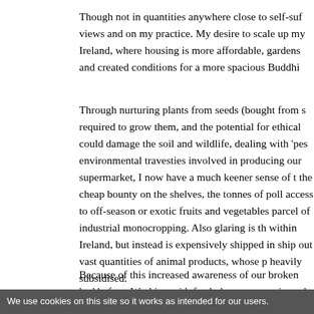Though not in quantities anywhere close to self-suf views and on my practice. My desire to scale up my Ireland, where housing is more affordable, gardens and created conditions for a more spacious Buddhi
Through nurturing plants from seeds (bought from s required to grow them, and the potential for ethical could damage the soil and wildlife, dealing with 'pes environmental travesties involved in producing our supermarket, I now have a much keener sense of t the cheap bounty on the shelves, the tonnes of poll access to off-season or exotic fruits and vegetables parcel of industrial monocropping. Also glaring is th within Ireland, but instead is expensively shipped in ship out vast quantities of animal products, whose p heavily subsidised.
Because of this increased awareness of our broken had before. Working with fresh, home-grown ingred
We use cookies on this site so it works as intended for our users.